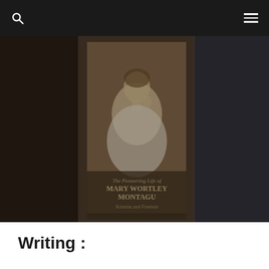🔍  ☰
[Figure (photo): A close-up photograph of a book cover: 'The Pioneering Life of Mary Wortley Montagu – Scientist and Feminist', showing a portrait of a woman in historical dress against a muted, darkened background.]
Writing :
This biography of Lady Mary Wortley Montagu (1689-1762)